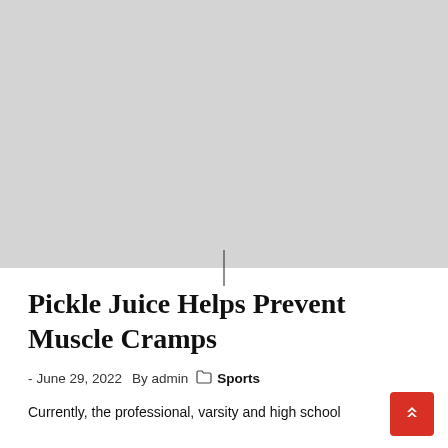[Figure (photo): Large gray placeholder image at the top of the article page]
Pickle Juice Helps Prevent Muscle Cramps
- June 29, 2022  By admin  [folder] Sports
Currently, the professional, varsity and high school football players are starting to drink pickle juice...